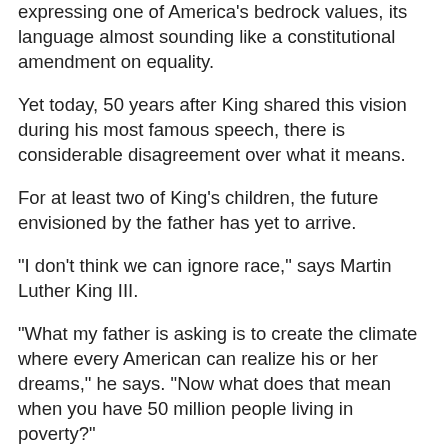expressing one of America's bedrock values, its language almost sounding like a constitutional amendment on equality.
Yet today, 50 years after King shared this vision during his most famous speech, there is considerable disagreement over what it means.
For at least two of King's children, the future envisioned by the father has yet to arrive.
"I don't think we can ignore race," says Martin Luther King III.
"What my father is asking is to create the climate where every American can realize his or her dreams," he says. "Now what does that mean when you have 50 million people living in poverty?"
Bernice King doubts her father would seek to ignore differences.
"When he talked about the beloved community